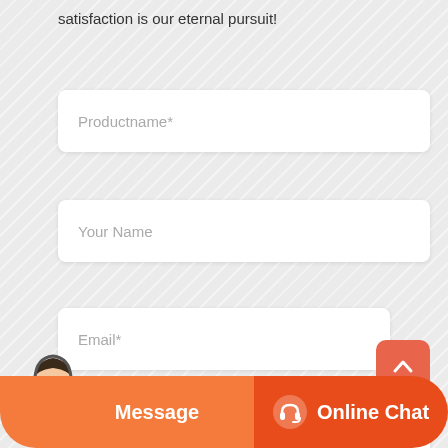satisfaction is our eternal pursuit!
Productname*
Your Name
Email*
Your Phone or Whatsapp*
Please fill in here the products you need information
Message
Online Chat